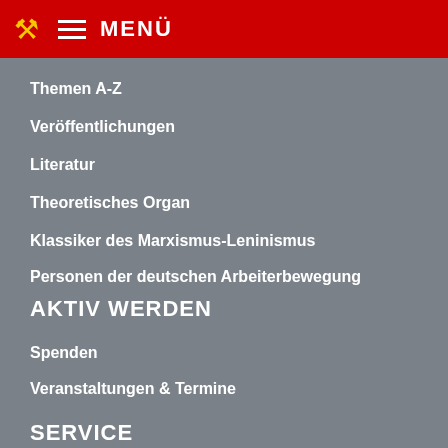MENÜ
Themen A-Z
Veröffentlichungen
Literatur
Theoretisches Organ
Klassiker des Marxismus-Leninismus
Personen der deutschen Arbeiterbewegung
AKTIV WERDEN
Spenden
Veranstaltungen & Termine
Kontakt
Mitglied werden
SERVICE